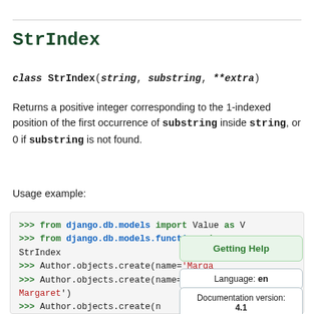StrIndex
class StrIndex(string, substring, **extra)
Returns a positive integer corresponding to the 1-indexed position of the first occurrence of substring inside string, or 0 if substring is not found.
Usage example:
[Figure (screenshot): Python code block showing Django ORM usage of StrIndex with Author.objects.create and filter calls, with Getting Help tooltip showing Language: en and Documentation version: 4.1]